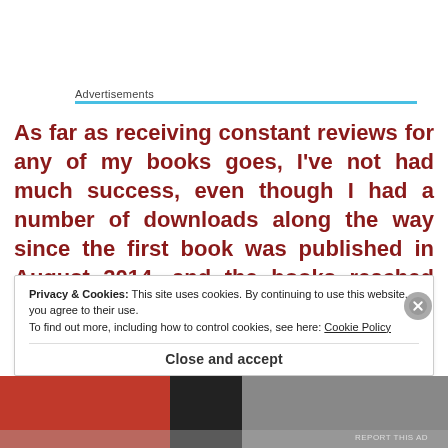Advertisements
As far as receiving constant reviews for any of my books goes, I've not had much success, even though I had a number of downloads along the way since the first book was published in August 2014, and the books reached the Bestseller list in their respective categories on a number of o…
Privacy & Cookies: This site uses cookies. By continuing to use this website, you agree to their use.
To find out more, including how to control cookies, see here: Cookie Policy
Close and accept